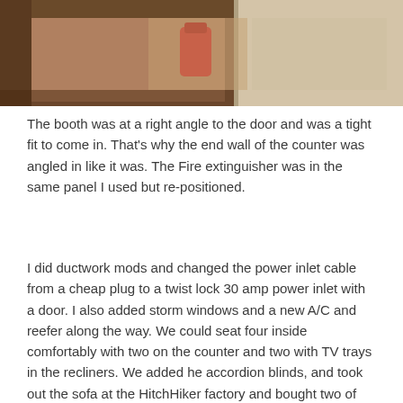[Figure (photo): Top portion of an interior photo of an RV/trailer showing a wall panel area with what appears to be a fire extinguisher mounted in a panel, with wood cabinetry visible.]
The booth was at a right angle to the door and was a tight fit to come in. That's why the end wall of the counter was angled in like it was. The Fire extinguisher was in the same panel I used but re-positioned.
I did ductwork mods and changed the power inlet cable from a cheap plug to a twist lock 30 amp power inlet with a door. I also added storm windows and a new A/C and reefer along the way. We could seat four inside comfortably with two on the counter and two with TV trays in the recliners. We added he accordion blinds, and took out the sofa at the HitchHiker factory and bought two of their leather recliners with real top grain leather you can see in the background.
[Figure (photo): Interior photo of an RV/trailer showing a long view down the interior with wood cabinets, a curved ceiling with lighting, and tan/beige decor. Leather recliners visible in the background.]